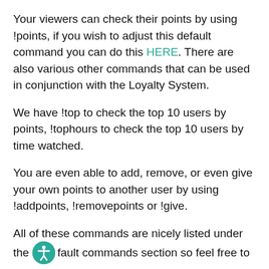Your viewers can check their points by using !points, if you wish to adjust this default command you can do this HERE. There are also various other commands that can be used in conjunction with the Loyalty System.
We have !top to check the top 10 users by points, !tophours to check the top 10 users by time watched.
You are even able to add, remove, or even give your own points to another user by using !addpoints, !removepoints or !give.
All of these commands are nicely listed under the default commands section so feel free to try them out. Want to learn more about commands, check out our tutorial HERE.